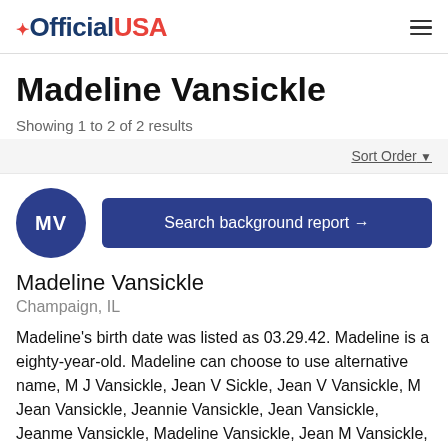OfficialUSA
Madeline Vansickle
Showing 1 to 2 of 2 results
Sort Order
[Figure (other): Avatar circle with initials MV in dark blue]
Search background report →
Madeline Vansickle
Champaign, IL
Madeline's birth date was listed as 03.29.42. Madeline is a eighty-year-old. Madeline can choose to use alternative name, M J Vansickle, Jean V Sickle, Jean V Vansickle, M Jean Vansickle, Jeannie Vansickle, Jean Vansickle, Jeanme Vansickle, Madeline Vansickle, Jean M Vansickle, Jean V Sickle, M Vansickle, M Vansickle, from a number a